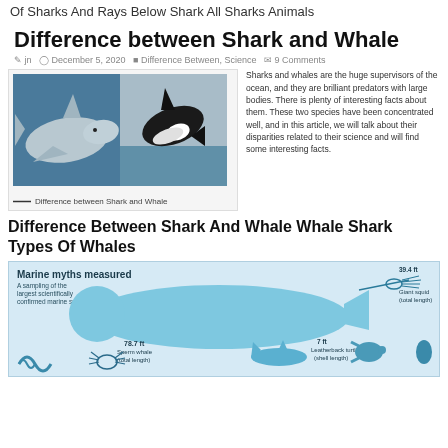Of Sharks And Rays Below Shark All Sharks Animals
Difference between Shark and Whale
jn · December 5, 2020 · Difference Between, Science · 9 Comments
[Figure (photo): Side-by-side photo of a shark (left) and an orca/killer whale (right) jumping from water]
— Difference between Shark and Whale
Sharks and whales are the huge supervisors of the ocean, and they are brilliant predators with large bodies. There is plenty of interesting facts about them. These two species have been concentrated well, and in this article, we will talk about their disparities related to their science and will find some interesting facts.
Difference Between Shark And Whale Whale Shark Types Of Whales
[Figure (infographic): Marine myths measured infographic showing sizes of large marine animals: Sperm whale 78.7 ft total length, Giant squid 39.4 ft total length, Leatherback turtle 7 ft shell length, with silhouettes of various sea creatures]